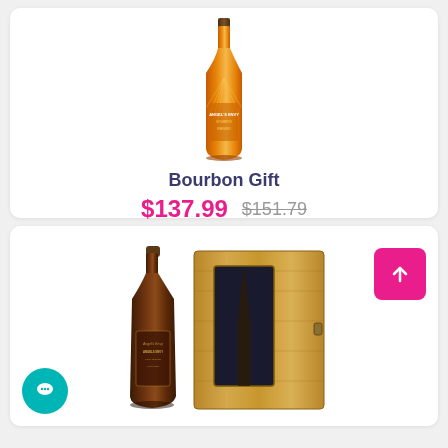[Figure (photo): Angel's Envy bourbon whiskey bottle with decorative label against white background]
Bourbon Gift
$137.99  $151.79
[Figure (photo): Angel's Envy bourbon bottle with wooden gift box, darker bottle with ornate label]